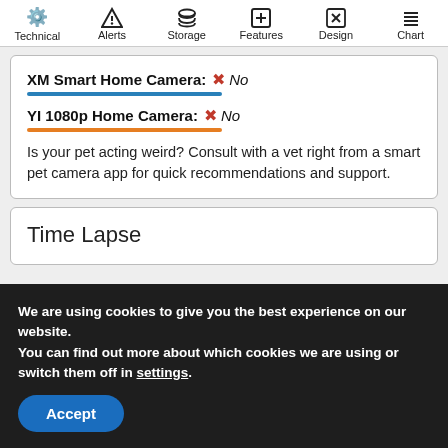Technical | Alerts | Storage | Features | Design | Chart
XM Smart Home Camera: ✗ No
YI 1080p Home Camera: ✗ No
Is your pet acting weird? Consult with a vet right from a smart pet camera app for quick recommendations and support.
Time Lapse
We are using cookies to give you the best experience on our website.
You can find out more about which cookies we are using or switch them off in settings.
Accept